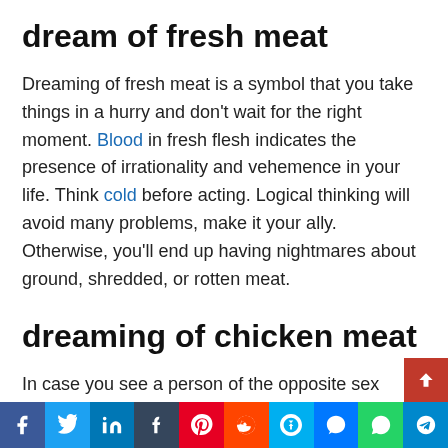dream of fresh meat
Dreaming of fresh meat is a symbol that you take things in a hurry and don't wait for the right moment. Blood in fresh flesh indicates the presence of irrationality and vehemence in your life. Think cold before acting. Logical thinking will avoid many problems, make it your ally. Otherwise, you'll end up having nightmares about ground, shredded, or rotten meat.
dreaming of chicken meat
In case you see a person of the opposite sex cooking chicken meat and the recipe is delicious, then you should know that you are very likely to achieve happiness and achieve a good marriage. Instead, dream of raw chicken meat, be careful because this is a sign of suffering in the sentimental area.
Facebook Twitter LinkedIn Tumblr Pinterest Reddit Skype Messenger WhatsApp Telegram